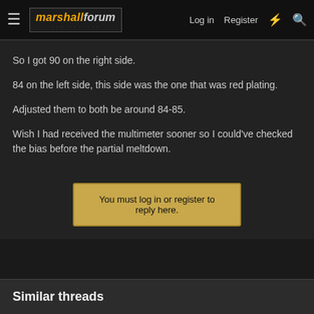marshallforum — Log in  Register
So I got 90 on the right side.
84 on the left side, this side was the one that was red plating.
Adjusted them to both be around 84-85.
Wish I had received the multimeter sooner so I could've checked the bias before the partial meltdown.
You must log in or register to reply here.
Similar threads